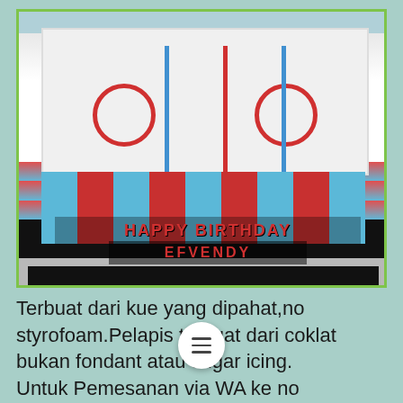[Figure (photo): A hockey rink-themed birthday cake decorated with red, white, and blue fondant/chocolate coating. The top of the cake shows a hockey rink with blue lines, red circles, and small figurines. The sides have alternating red and blue vertical stripes. A 'HAPPY BIRTHDAY EFVENDY' inscription is on the front. The cake sits on a black base board with stars.]
Terbuat dari kue yang dipahat,no styrofoam.Pelapis terbuat dari coklat bukan fondant atau sugar icing.
Untuk Pemesanan via WA ke no